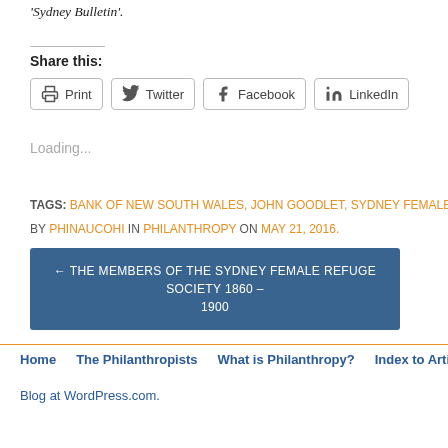'Sydney Bulletin'.
Share this:
Print  Twitter  Facebook  LinkedIn
Loading...
TAGS: BANK OF NEW SOUTH WALES, JOHN GOODLET, SYDNEY FEMALE REFUGE, SYD…
BY PHINAUCOHI IN PHILANTHROPY ON MAY 21, 2016.
← THE MEMBERS OF THE SYDNEY FEMALE REFUGE SOCIETY 1860 – 1900
Home  The Philanthropists  What is Philanthropy?  Index to Articles  Au…
Blog at WordPress.com.